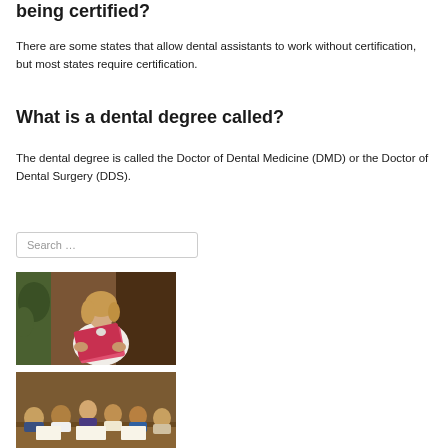being certified?
There are some states that allow dental assistants to work without certification, but most states require certification.
What is a dental degree called?
The dental degree is called the Doctor of Dental Medicine (DMD) or the Doctor of Dental Surgery (DDS).
[Figure (other): Search box with placeholder text 'Search ...']
[Figure (photo): Woman with blonde hair reading a pink folder/document, seated indoors with plants in background]
[Figure (photo): Group of people seated at a table in a meeting or classroom setting]